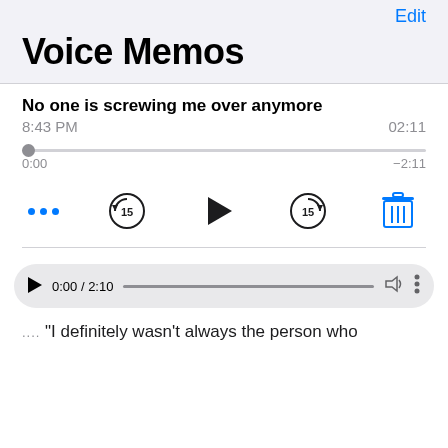Edit
Voice Memos
No one is screwing me over anymore
8:43 PM   02:11
0:00   -2:11
[Figure (screenshot): Audio player controls: three dots menu, skip back 15, play button, skip forward 15, trash icon]
[Figure (screenshot): Embedded audio player bar showing 0:00 / 2:10 with progress bar, volume icon, and more options]
“I definitely wasn’t always the person who